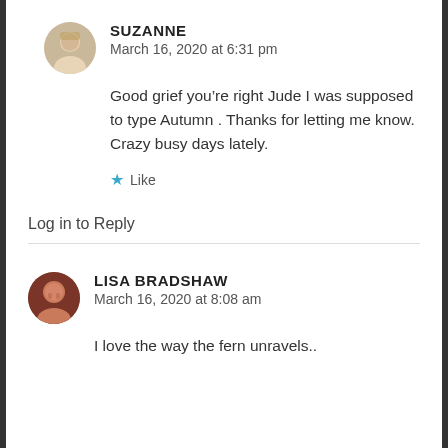SUZANNE
March 16, 2020 at 6:31 pm
Good grief you’re right Jude I was supposed to type Autumn . Thanks for letting me know. Crazy busy days lately.
★ Like
Log in to Reply
LISA BRADSHAW
March 16, 2020 at 8:08 am
I love the way the fern unravels..